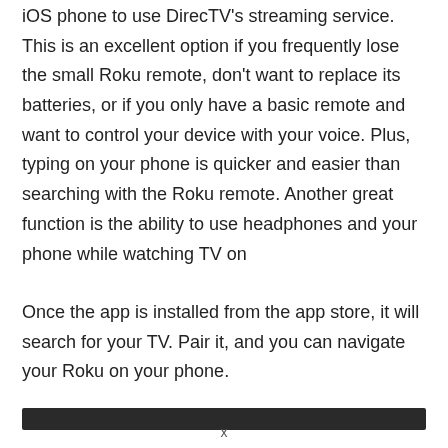iOS phone to use DirecTV's streaming service. This is an excellent option if you frequently lose the small Roku remote, don't want to replace its batteries, or if you only have a basic remote and want to control your device with your voice. Plus, typing on your phone is quicker and easier than searching with the Roku remote. Another great function is the ability to use headphones and your phone while watching TV on
Once the app is installed from the app store, it will search for your TV. Pair it, and you can navigate your Roku on your phone.
[Figure (other): Dark horizontal bar/banner element]